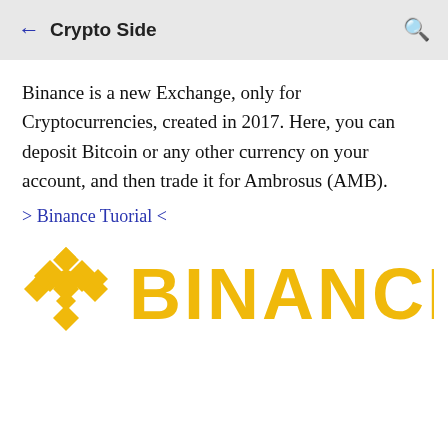← Crypto Side
Binance is a new Exchange, only for Cryptocurrencies, created in 2017. Here, you can deposit Bitcoin or any other currency on your account, and then trade it for Ambrosus (AMB).
> Binance Tuorial <
[Figure (logo): Binance logo: golden diamond-shaped icon with 'BINANCE' text in gold]